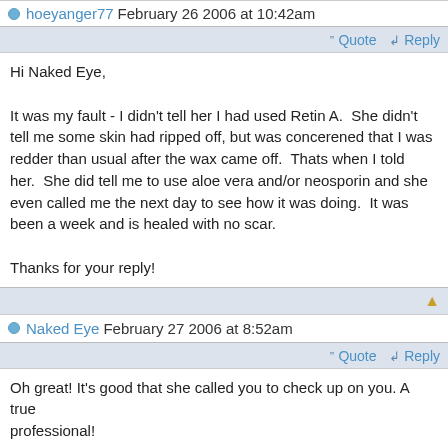hoeyanger77 February 26 2006 at 10:42am
Quote  Reply
Hi Naked Eye,

It was my fault - I didn't tell her I had used Retin A.  She didn't tell me some skin had ripped off, but was concerened that I was redder than usual after the wax came off.  Thats when I told her.  She did tell me to use aloe vera and/or neosporin and she even called me the next day to see how it was doing.  It was been a week and is healed with no scar.

Thanks for your reply!
Naked Eye  February 27 2006 at 8:52am
Quote  Reply
Oh great! It's good that she called you to check up on you. A true
professional!
cocoabrown26  March 24 2006 at 10:22am